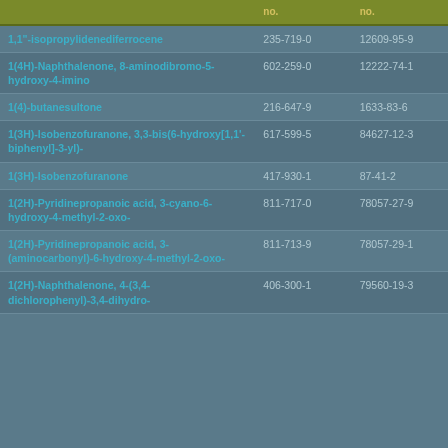|  | no. | no. |
| --- | --- | --- |
| 1,1"-isopropylidenediferrocene | 235-719-0 | 12609-95-9 |
| 1(4H)-Naphthalenone, 8-aminodibromo-5-hydroxy-4-imino | 602-259-0 | 12222-74-1 |
| 1(4)-butanesultone | 216-647-9 | 1633-83-6 |
| 1(3H)-Isobenzofuranone, 3,3-bis(6-hydroxy[1,1'-biphenyl]-3-yl)- | 617-599-5 | 84627-12-3 |
| 1(3H)-Isobenzofuranone | 417-930-1 | 87-41-2 |
| 1(2H)-Pyridinepropanoic acid, 3-cyano-6-hydroxy-4-methyl-2-oxo- | 811-717-0 | 78057-27-9 |
| 1(2H)-Pyridinepropanoic acid, 3-(aminocarbonyl)-6-hydroxy-4-methyl-2-oxo- | 811-713-9 | 78057-29-1 |
| 1(2H)-Naphthalenone, 4-(3,4-dichlorophenyl)-3,4-dihydro- | 406-300-1 | 79560-19-3 |